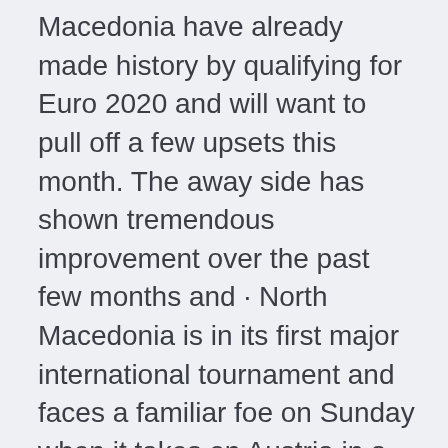Macedonia have already made history by qualifying for Euro 2020 and will want to pull off a few upsets this month. The away side has shown tremendous improvement over the past few months and · North Macedonia is in its first major international tournament and faces a familiar foe on Sunday when it takes on Austria in a 2020 UEFA European Championship group-stage match. Austria won both meetings between the teams in qualifying for Euro 2020, which is starting almost a year late because of the pandemic.